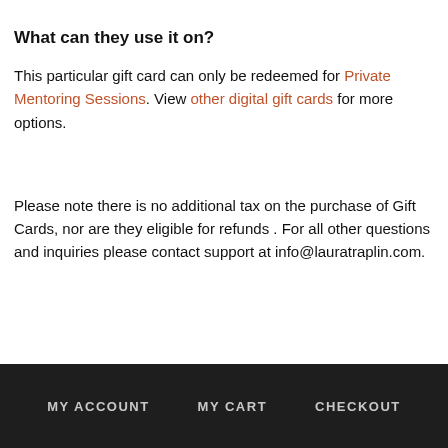What can they use it on?
This particular gift card can only be redeemed for Private Mentoring Sessions. View other digital gift cards for more options.
Please note there is no additional tax on the purchase of Gift Cards, nor are they eligible for refunds . For all other questions and inquiries please contact support at info@lauratraplin.com.
MY ACCOUNT   MY CART   CHECKOUT